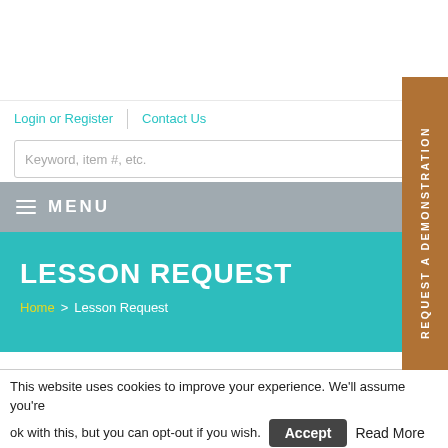Login or Register | Contact Us
Keyword, item #, etc.
MENU
LESSON REQUEST
Home > Lesson Request
REQUEST A DEMONSTRATION
This website uses cookies to improve your experience. We'll assume you're ok with this, but you can opt-out if you wish. Accept Read More